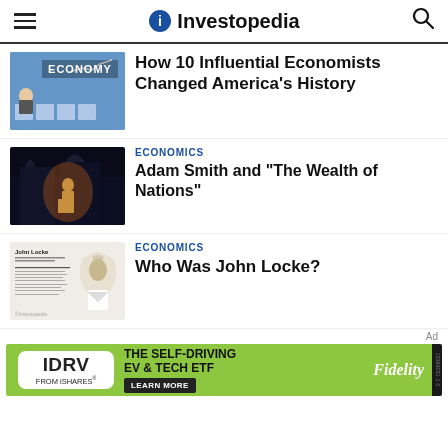Investopedia
[Figure (photo): Person sitting reading newspaper in front of chairs, ECONOMY text overlay with chart]
How 10 Influential Economists Changed America's History
[Figure (photo): Statue of Adam Smith lit up at night against dark building]
ECONOMICS
Adam Smith and "The Wealth of Nations"
[Figure (photo): Infographic about John Locke with illustration portrait]
ECONOMICS
Who Was John Locke?
[Figure (infographic): IDRV from iShares advertisement - The Self-Driving EV & Tech ETF - Fidelity - Learn More]